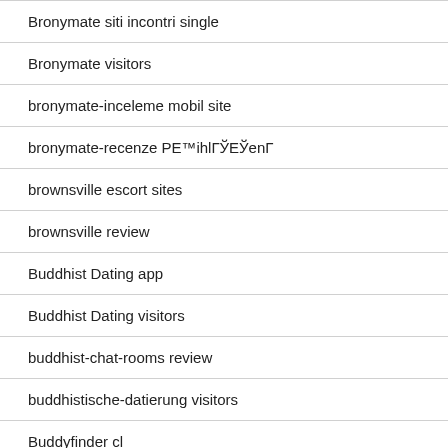Bronymate siti incontri single
Bronymate visitors
bronymate-inceleme mobil site
bronymate-recenze PE™ihlГЎEЎenГ
brownsville escort sites
brownsville review
Buddhist Dating app
Buddhist Dating visitors
buddhist-chat-rooms review
buddhistische-datierung visitors
Buddyfinder cl...